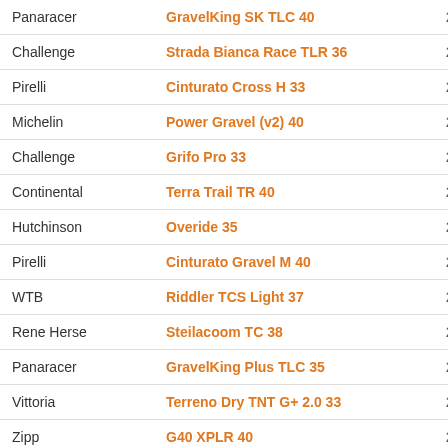| Brand | Model | Watts |
| --- | --- | --- |
| Panaracer | GravelKing SK TLC 40 | 24.7 W |
| Challenge | Strada Bianca Race TLR 36 | 25.0 W |
| Pirelli | Cinturato Cross H 33 | 25.2 W |
| Michelin | Power Gravel (v2) 40 | 25.7 W |
| Challenge | Grifo Pro 33 | 25.7 W |
| Continental | Terra Trail TR 40 | 26.0 W |
| Hutchinson | Overide 35 | 26.0 W |
| Pirelli | Cinturato Gravel M 40 | 26.5 W |
| WTB | Riddler TCS Light 37 | 26.6 W |
| Rene Herse | Steilacoom TC 38 | 26.9 W |
| Panaracer | GravelKing Plus TLC 35 | 26.9 W |
| Vittoria | Terreno Dry TNT G+ 2.0 33 | 27.0 W |
| Zipp | G40 XPLR 40 | 27.1 W |